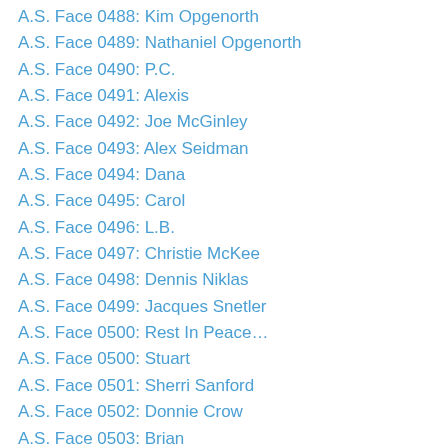A.S. Face 0488: Kim Opgenorth
A.S. Face 0489: Nathaniel Opgenorth
A.S. Face 0490: P.C.
A.S. Face 0491: Alexis
A.S. Face 0492: Joe McGinley
A.S. Face 0493: Alex Seidman
A.S. Face 0494: Dana
A.S. Face 0495: Carol
A.S. Face 0496: L.B.
A.S. Face 0497: Christie McKee
A.S. Face 0498: Dennis Niklas
A.S. Face 0499: Jacques Snetler
A.S. Face 0500: Rest In Peace…
A.S. Face 0500: Stuart
A.S. Face 0501: Sherri Sanford
A.S. Face 0502: Donnie Crow
A.S. Face 0503: Brian
A.S. Face 0504: Rachel Sauerbier
A.S. Face 0505: Rhonda McGrath
A.S. Face 0506: Gail Chamberlain